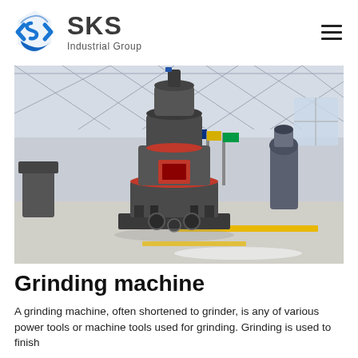[Figure (logo): SKS Industrial Group logo with blue angular S-shaped icon and bold text]
[Figure (photo): Large industrial grinding machine (Raymond mill) on factory floor inside a large warehouse with steel truss roof, flags in background, other equipment visible]
Grinding machine
A grinding machine, often shortened to grinder, is any of various power tools or machine tools used for grinding. Grinding is used to finish workpieces that must show high surface quality and high accuracy of shape and dimension.